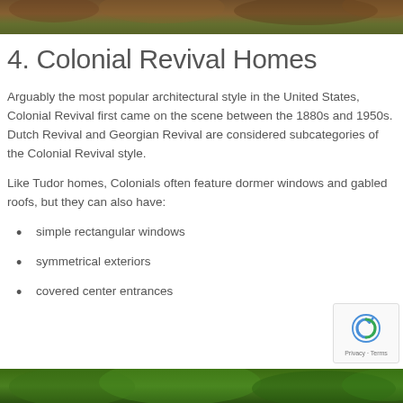[Figure (photo): Top decorative image banner showing trees/foliage with brown/green tones]
4. Colonial Revival Homes
Arguably the most popular architectural style in the United States, Colonial Revival first came on the scene between the 1880s and 1950s. Dutch Revival and Georgian Revival are considered subcategories of the Colonial Revival style.
Like Tudor homes, Colonials often feature dormer windows and gabled roofs, but they can also have:
simple rectangular windows
symmetrical exteriors
covered center entrances
[Figure (photo): Bottom decorative image banner showing green foliage/trees]